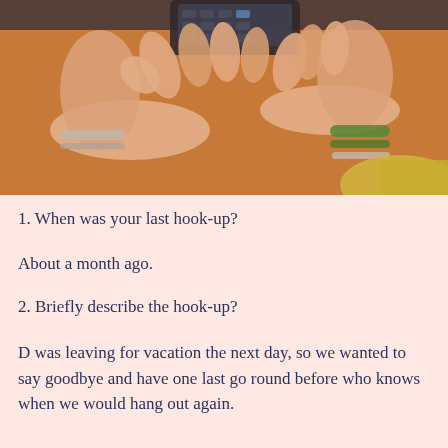[Figure (photo): Close-up photo of a person's hands holding a mobile phone/smartphone, typing or texting. The person is wearing bracelets and wristbands. Background is orange/brown toned.]
1. When was your last hook-up?
About a month ago.
2. Briefly describe the hook-up?
D was leaving for vacation the next day, so we wanted to say goodbye and have one last go round before who knows when we would hang out again.